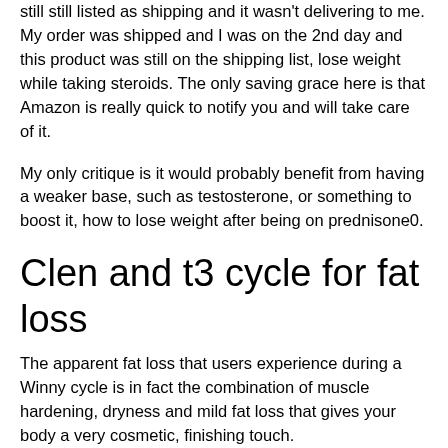still still listed as shipping and it wasn't delivering to me. My order was shipped and I was on the 2nd day and this product was still on the shipping list, lose weight while taking steroids. The only saving grace here is that Amazon is really quick to notify you and will take care of it.
My only critique is it would probably benefit from having a weaker base, such as testosterone, or something to boost it, how to lose weight after being on prednisone0.
Clen and t3 cycle for fat loss
The apparent fat loss that users experience during a Winny cycle is in fact the combination of muscle hardening, dryness and mild fat loss that gives your body a very cosmetic, finishing touch.